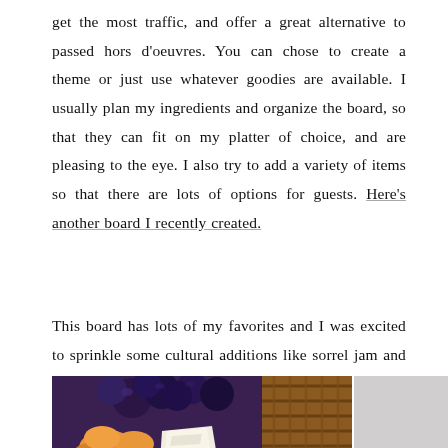get the most traffic, and offer a great alternative to passed hors d'oeuvres. You can chose to create a theme or just use whatever goodies are available. I usually plan my ingredients and organize the board, so that they can fit on my platter of choice, and are pleasing to the eye. I also try to add a variety of items so that there are lots of options for guests. Here's another board I recently created.
This board has lots of my favorites and I was excited to sprinkle some cultural additions like sorrel jam and Crix crackers.
[Figure (photo): Close-up photo of a charcuterie/grazing board showing dark plums or grapes, dried apricots, cheese slices, and wicker basket in background]